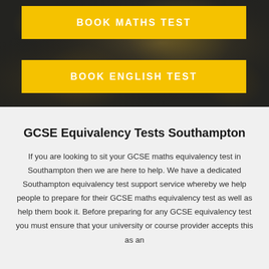[Figure (photo): Dark background hero section with blurred bokeh elements suggesting an academic/study environment]
BOOK MATHS TEST
BOOK ENGLISH TEST
GCSE Equivalency Tests Southampton
If you are looking to sit your GCSE maths equivalency test in Southampton then we are here to help. We have a dedicated Southampton equivalency test support service whereby we help people to prepare for their GCSE maths equivalency test as well as help them book it. Before preparing for any GCSE equivalency test you must ensure that your university or course provider accepts this as an